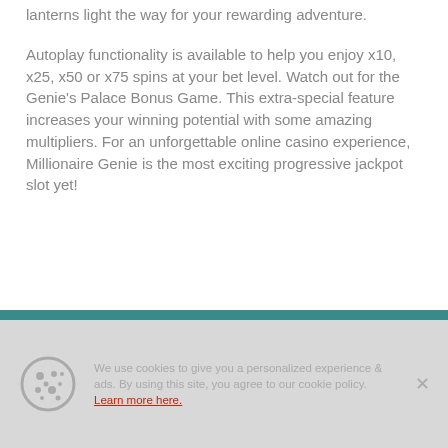lanterns light the way for your rewarding adventure.
Autoplay functionality is available to help you enjoy x10, x25, x50 or x75 spins at your bet level. Watch out for the Genie's Palace Bonus Game. This extra-special feature increases your winning potential with some amazing multipliers. For an unforgettable online casino experience, Millionaire Genie is the most exciting progressive jackpot slot yet!
We use cookies to give you a personalized experience & ads. By using this site, you agree to our cookie policy. Learn more here.